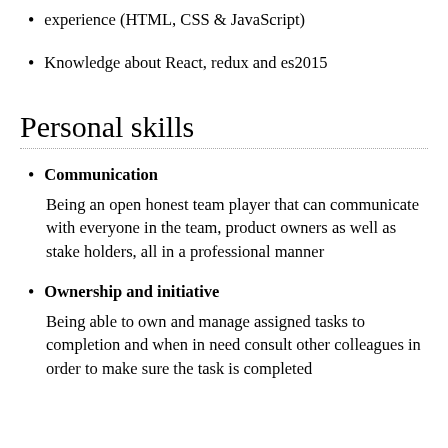experience (HTML, CSS & JavaScript)
Knowledge about React, redux and es2015
Personal skills
Communication
Being an open honest team player that can communicate with everyone in the team, product owners as well as stake holders, all in a professional manner
Ownership and initiative
Being able to own and manage assigned tasks to completion and when in need consult other colleagues in order to make sure the task is completed